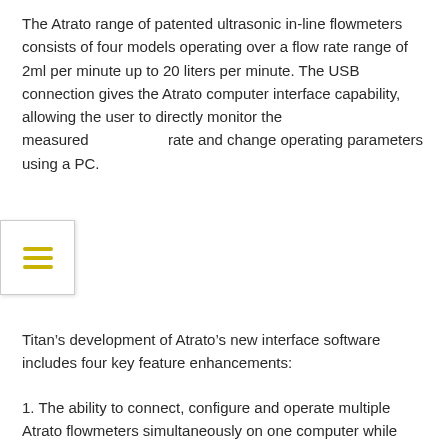The Atrato range of patented ultrasonic in-line flowmeters consists of four models operating over a flow rate range of 2ml per minute up to 20 liters per minute. The USB connection gives the Atrato computer interface capability, allowing the user to directly monitor the measured rate and change operating parameters using a PC.
Titan’s development of Atrato’s new interface software includes four key feature enhancements:
1. The ability to connect, configure and operate multiple Atrato flowmeters simultaneously on one computer while minimizing CPU usage.
2. Added ability to perform simple local and remote-controlled batch operations using an integrated relay.
3. Remote start/restart capability for long periods of shutdown.